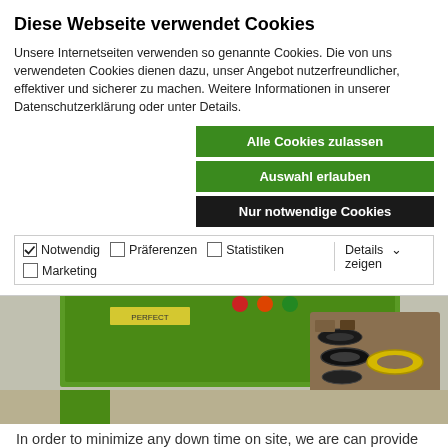Diese Webseite verwendet Cookies
Unsere Internetseiten verwenden so genannte Cookies. Die von uns verwendeten Cookies dienen dazu, unser Angebot nutzerfreundlicher, effektiver und sicherer zu machen. Weitere Informationen in unserer Datenschutzerklärung oder unter Details.
Alle Cookies zulassen
Auswahl erlauben
Nur notwendige Cookies
✓ Notwendig   ☐ Präferenzen   ☐ Statistiken   ☐ Marketing   Details zeigen
[Figure (photo): Photo of pump parts and seals in a green box/tray, including black rubber seals, yellow rings, and various mechanical components. Green equipment in background.]
In order to minimize any down time on site, we are can provide skilled and experienced personnel on a contract basis. Our personnel have many years experience working with our pumps as well as with the tools and parts that are part of the mobile repair unit. They arrive fully equipped to